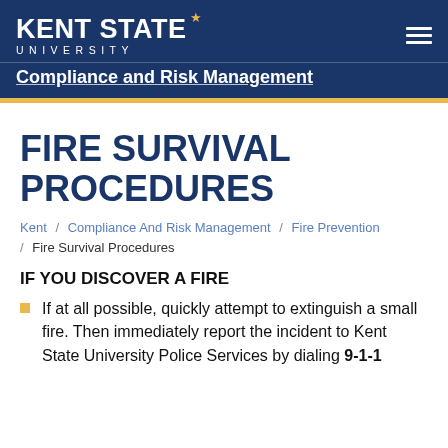KENT STATE UNIVERSITY — Compliance and Risk Management
FIRE SURVIVAL PROCEDURES
Kent / Compliance And Risk Management / Fire Prevention / Fire Survival Procedures
IF YOU DISCOVER A FIRE
If at all possible, quickly attempt to extinguish a small fire. Then immediately report the incident to Kent State University Police Services by dialing 9-1-1